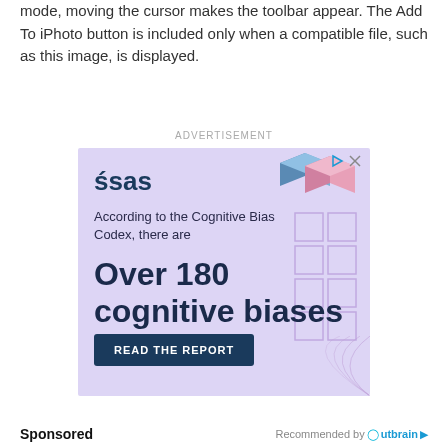mode, moving the cursor makes the toolbar appear. The Add To iPhoto button is included only when a compatible file, such as this image, is displayed.
ADVERTISEMENT
[Figure (infographic): SAS advertisement banner with lavender background. Shows SAS logo, decorative 3D cubes, grid squares pattern, text 'According to the Cognitive Bias Codex, there are Over 180 cognitive biases', and a dark blue 'READ THE REPORT' button. Small play and close icons in top right corner.]
Sponsored
Recommended by Outbrain